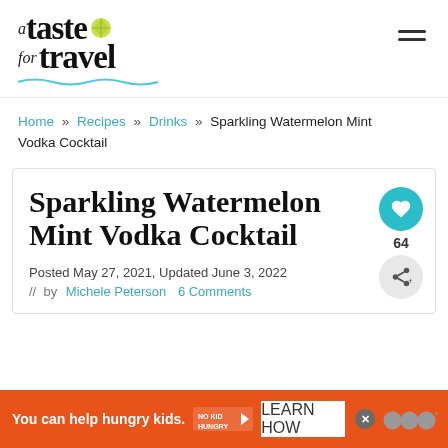a taste for travel — logo with navigation menu icon
Home » Recipes » Drinks » Sparkling Watermelon Mint Vodka Cocktail
Sparkling Watermelon Mint Vodka Cocktail
Posted May 27, 2021, Updated June 3, 2022 // by Michele Peterson 6 Comments
You can help hungry kids. NO KID HUNGRY LEARN HOW